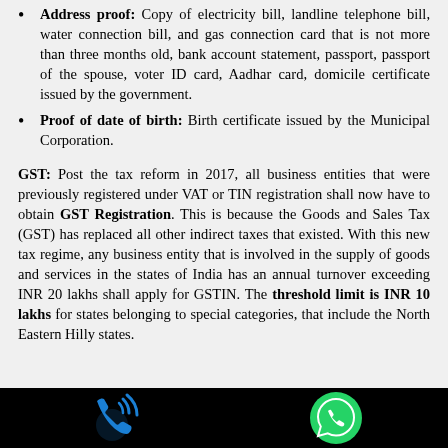Address proof: Copy of electricity bill, landline telephone bill, water connection bill, and gas connection card that is not more than three months old, bank account statement, passport, passport of the spouse, voter ID card, Aadhar card, domicile certificate issued by the government.
Proof of date of birth: Birth certificate issued by the Municipal Corporation.
GST: Post the tax reform in 2017, all business entities that were previously registered under VAT or TIN registration shall now have to obtain GST Registration. This is because the Goods and Sales Tax (GST) has replaced all other indirect taxes that existed. With this new tax regime, any business entity that is involved in the supply of goods and services in the states of India has an annual turnover exceeding INR 20 lakhs shall apply for GSTIN. The threshold limit is INR 10 lakhs for states belonging to special categories, that include the North Eastern Hilly states.
[Figure (infographic): Black footer bar with a blue phone/call icon on the left and a green WhatsApp icon on the right]